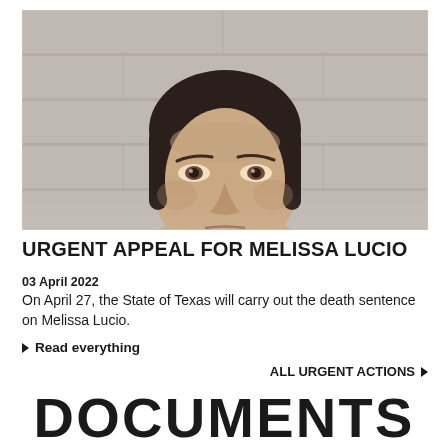[Figure (photo): Mugshot/headshot photo of Melissa Lucio, a woman with dark hair pulled back, against a grey cinder block wall background. Only the face and top of head are visible.]
URGENT APPEAL FOR MELISSA LUCIO
03 April 2022
On April 27, the State of Texas will carry out the death sentence on Melissa Lucio.
▶ Read everything
ALL URGENT ACTIONS ▶
DOCUMENTS